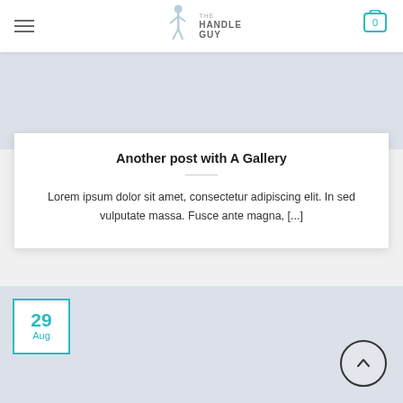The Handle Guy — navigation header with hamburger menu and cart icon showing 0
[Figure (logo): The Handle Guy logo — a walking figure silhouette with text 'The Handle Guy']
[Figure (illustration): Light gray banner area at top of page content]
Another post with A Gallery
Lorem ipsum dolor sit amet, consectetur adipiscing elit. In sed vulputate massa. Fusce ante magna, [...]
[Figure (illustration): Light gray banner area for second blog post with date badge showing 29 Aug]
[Figure (illustration): Back to top circular arrow button]